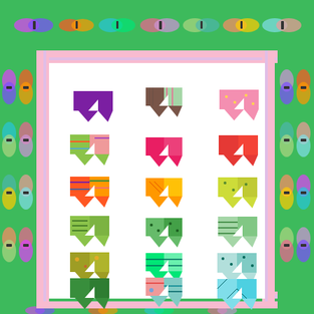[Figure (illustration): A quilt design featuring a white background with colorful heart shapes arranged in a 3x6 grid pattern. The quilt is bordered by a wide green border decorated with colorful butterfly and bird motifs. Inside the green border is a narrow pink/lavender striped inner border. The hearts are made from various patterned fabrics in colors including purple, multi-color floral, pink, floral/bird print, hot pink, red, multi-color, orange/yellow, yellow-green, lime green, medium green, olive/floral, bright green, teal, mint green with dots, olive/dark green, bird/floral, blue-green diamond, tropical bird, teal blue, and light blue. The overall style is a decorative quilt pattern preview.]